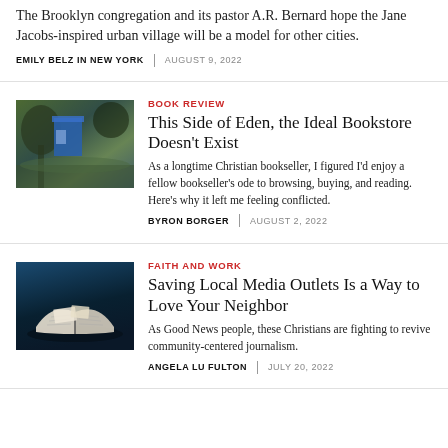The Brooklyn congregation and its pastor A.R. Bernard hope the Jane Jacobs-inspired urban village will be a model for other cities.
EMILY BELZ IN NEW YORK  |  AUGUST 9, 2022
BOOK REVIEW
This Side of Eden, the Ideal Bookstore Doesn't Exist
As a longtime Christian bookseller, I figured I'd enjoy a fellow bookseller's ode to browsing, buying, and reading. Here's why it left me feeling conflicted.
BYRON BORGER  |  AUGUST 2, 2022
FAITH AND WORK
Saving Local Media Outlets Is a Way to Love Your Neighbor
As Good News people, these Christians are fighting to revive community-centered journalism.
ANGELA LU FULTON  |  JULY 20, 2022